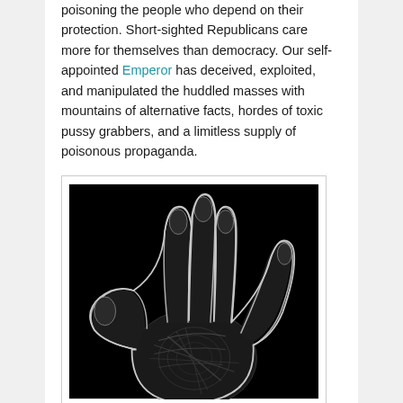poisoning the people who depend on their protection. Short-sighted Republicans care more for themselves than democracy. Our self-appointed Emperor has deceived, exploited, and manipulated the huddled masses with mountains of alternative facts, hordes of toxic pussy grabbers, and a limitless supply of poisonous propaganda.
[Figure (photo): Black and white photograph of an open hand palm facing viewer, with a white outline tracing the silhouette of the hand and fingers against a black background. The hand shows detailed fingerprint and palm line textures.]